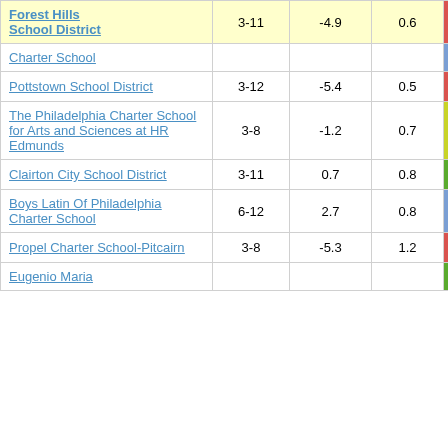| School/District | Grades |  |  | Score |
| --- | --- | --- | --- | --- |
| Forest Hills School District | 3-11 | -4.9 | 0.6 | -8.77 |
| [Charter School partial] |  |  |  |  |
| Pottstown School District | 3-12 | -5.4 | 0.5 | -10.46 |
| The Philadelphia Charter School for Arts and Sciences at HR Edmunds | 3-8 | -1.2 | 0.7 | -1.83 |
| Clairton City School District | 3-11 | 0.7 | 0.8 | 0.84 |
| Boys Latin Of Philadelphia Charter School | 6-12 | 2.7 | 0.8 | 3.28 |
| Propel Charter School-Pitcairn | 3-8 | -5.3 | 1.2 | -4.63 |
| Eugenio Maria |  |  |  |  |